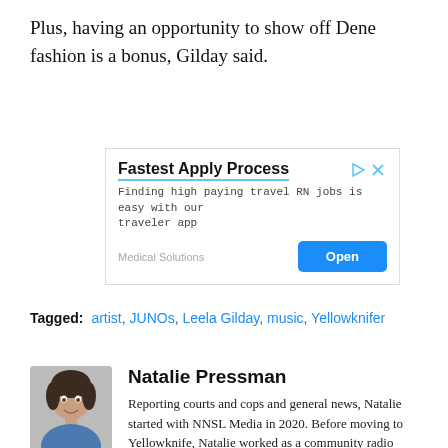Plus, having an opportunity to show off Dene fashion is a bonus, Gilday said.
[Figure (screenshot): Advertisement for Medical Solutions job app: 'Fastest Apply Process - Finding high paying travel RN jobs is easy with our traveler app - Medical Solutions - Open']
Tagged: artist, JUNOs, Leela Gilday, music, Yellowknifer
Natalie Pressman
[Figure (photo): Headshot photo of Natalie Pressman, a woman with dark hair, smiling]
Reporting courts and cops and general news, Natalie started with NNSL Media in 2020. Before moving to Yellowknife, Natalie worked as a community radio journalist in Edmonton, at...